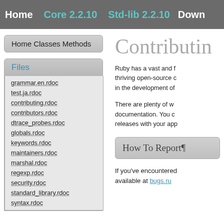Home   Core 2.2.10   Std-lib 2.2.10   Down
Home Classes Methods
Files
grammar.en.rdoc
test.ja.rdoc
contributing.rdoc
contributors.rdoc
dtrace_probes.rdoc
globals.rdoc
keywords.rdoc
maintainers.rdoc
marshal.rdoc
regexp.rdoc
security.rdoc
standard_library.rdoc
syntax.rdoc
Contributing
Ruby has a vast and f thriving open-source in the development of
There are plenty of w documentation. You c releases with your app
How To Report
If you've encountered available at bugs.ru